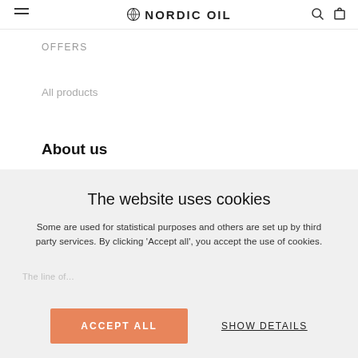NORDIC OIL
OFFERS
All products
About us
The website uses cookies
Some are used for statistical purposes and others are set up by third party services. By clicking ‘Accept all’, you accept the use of cookies.
The line of...
ACCEPT ALL
SHOW DETAILS